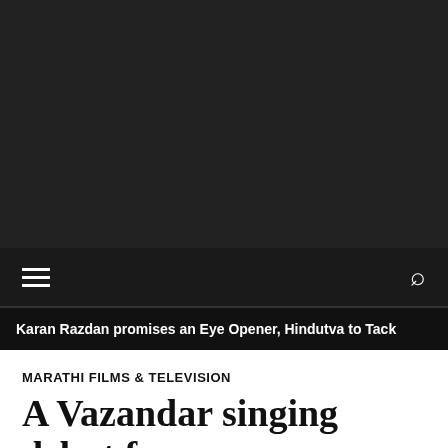[Figure (other): Dark background banner area, likely a video or image placeholder]
≡    🔍
Karan Razdan promises an Eye Opener, Hindutva to Tack
MARATHI FILMS & TELEVISION
A Vazandar singing debut for